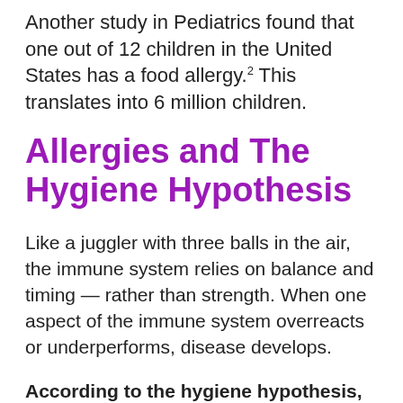Another study in Pediatrics found that one out of 12 children in the United States has a food allergy.2 This translates into 6 million children.
Allergies and The Hygiene Hypothesis
Like a juggler with three balls in the air, the immune system relies on balance and timing — rather than strength. When one aspect of the immune system overreacts or underperforms, disease develops.
According to the hygiene hypothesis, our cleanliness may be one way that allergies develop.
The hygiene hypothesis originally...